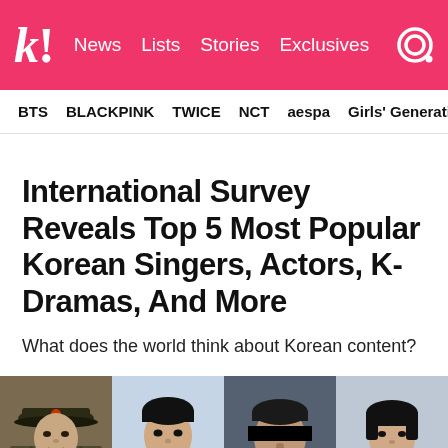k! News Lists Stories Exclusives
BTS  BLACKPINK  TWICE  NCT  aespa  Girls' Generation
International Survey Reveals Top 5 Most Popular Korean Singers, Actors, K-Dramas, And More
What does the world think about Korean content?
[Figure (photo): Four photos of Korean actors/celebrities: man in military uniform hat, young man in suit, man with black bar censoring eyes, young man with dark hair]